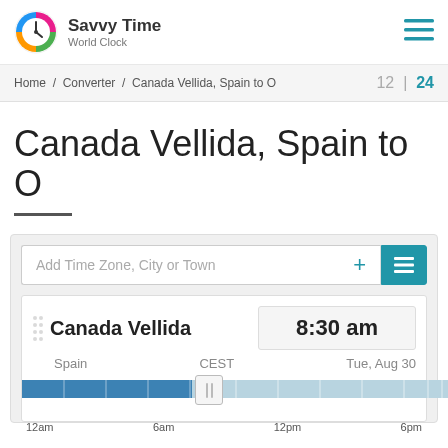Savvy Time World Clock
Home / Converter / Canada Vellida, Spain to O   12 | 24
Canada Vellida, Spain to O
Add Time Zone, City or Town
| City | Time | Timezone | Date |
| --- | --- | --- | --- |
| Canada Vellida | 8:30 am | CEST | Tue, Aug 30 |
[Figure (other): Time slider bar showing 24-hour timeline with night (blue) and day (light blue) segments, thumb positioned at 8:30am. Tick marks along bar. Labels: 12am, 6am, 12pm, 6pm]